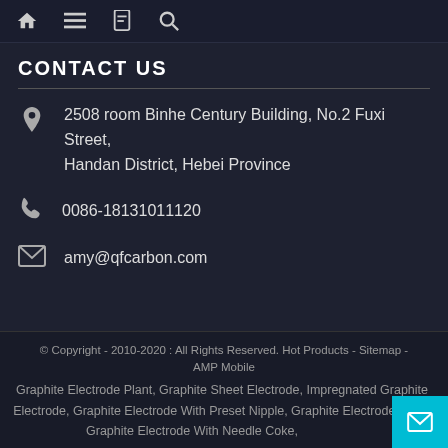CONTACT US
2508 room Binhe Century Building, No.2 Fuxi Street, Handan District, Hebei Province
0086-18131011120
amy@qfcarbon.com
© Copyright - 2010-2020 : All Rights Reserved. Hot Products - Sitemap - AMP Mobile
Graphite Electrode Plant, Graphite Sheet Electrode, Impregnated Graphite Electrode, Graphite Electrode With Preset Nipple, Graphite Electrode Plate, Graphite Electrode With Needle Coke,